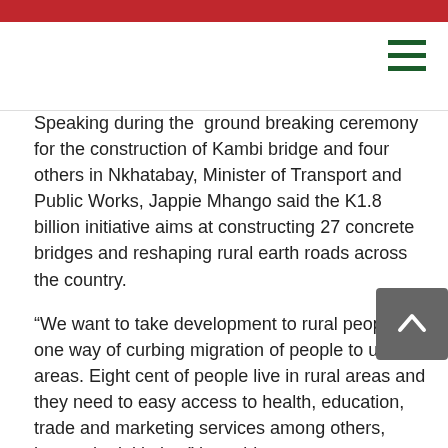Speaking during the  ground breaking ceremony for the construction of Kambi bridge and four others in Nkhatabay, Minister of Transport and Public Works, Jappie Mhango said the K1.8 billion initiative aims at constructing 27 concrete bridges and reshaping rural earth roads across the country.
“We want to take development to rural people as one way of curbing migration of people to urban areas. Eighty cent of people live in rural areas and they need to easy access to health, education, trade and marketing services among others, hence the initiative,” he said.
Mhango said the initiative is a brain child of the President Prof. Peter Mutharika in ensuring that rural masses have easy access to services within their reach.